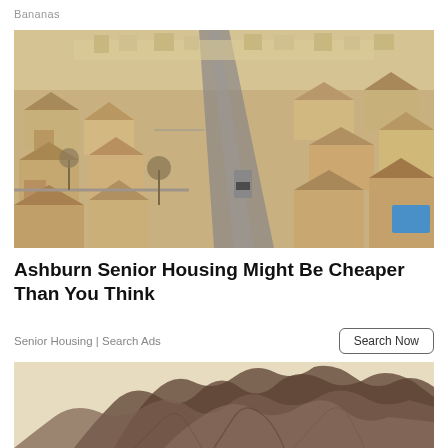Bananas
[Figure (photo): Aerial drone view of a suburban residential neighborhood with houses, streets, and trees in a desert/arid environment]
Ashburn Senior Housing Might Be Cheaper Than You Think
Senior Housing | Search Ads
[Figure (photo): Bottom portion of photo showing hair/person, partially visible]